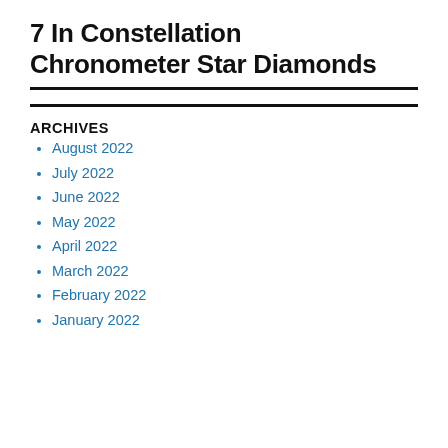7 In Constellation Chronometer Star Diamonds
ARCHIVES
August 2022
July 2022
June 2022
May 2022
April 2022
March 2022
February 2022
January 2022